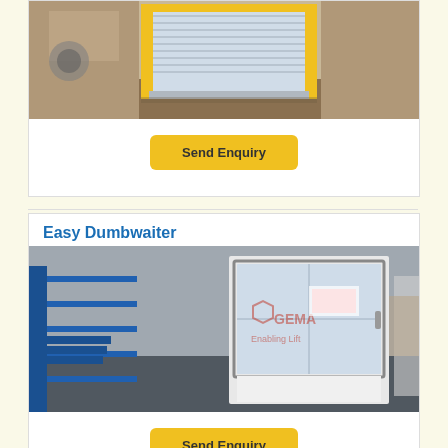[Figure (photo): Photo of a roller shutter door / industrial door product in a warehouse setting with yellow safety markings]
Send Enquiry
Easy Dumbwaiter
[Figure (photo): Photo of a dumbwaiter / goods lift in a warehouse with blue steel shelving and stairs. GEMA Enabling Lift logo watermark visible.]
Send Enquiry